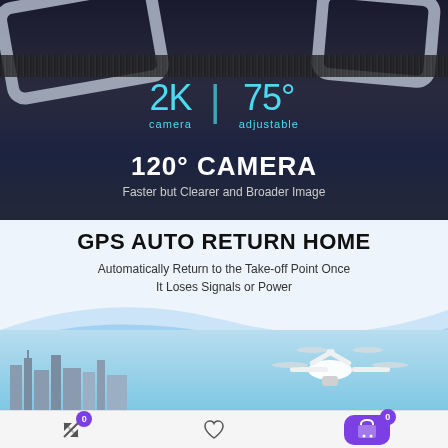[Figure (photo): Dark background showing drone camera/arms at top with velcro texture, displaying 2K camera and 75° adjustable specs in cyan text, with '120° CAMERA' heading and 'Faster but Clearer and Broader Image' subtitle in white text]
[Figure (illustration): Light blue section with GPS AUTO RETURN HOME heading, wave curve separating sections, white drone flying over city skyline with sky background]
[Figure (infographic): Bottom toolbar with compare icon (badge 0), heart/wishlist icon, and purple shopping cart button (badge 0)]